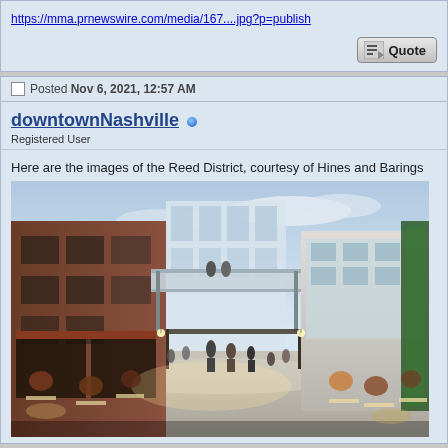https://mma.prnewswire.com/media/167....jpg?p=publish
Posted Nov 6, 2021, 12:57 AM
downtownNashville
Registered User
Here are the images of the Reed District, courtesy of Hines and Barings
[Figure (photo): Architectural rendering of the Reed District development showing an outdoor pedestrian plaza with brick buildings on the left, a modern glass bridge/skybridge connecting buildings, people dining and walking, green living wall on the right, and warm evening lighting.]